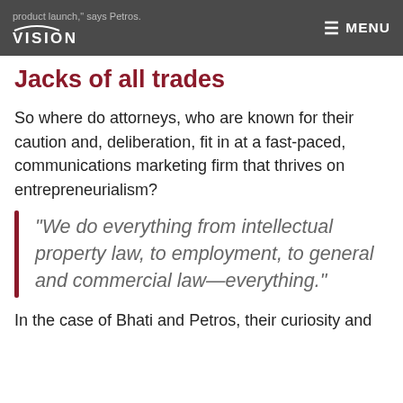product launch," says Petros. VISION ☰ MENU
Jacks of all trades
So where do attorneys, who are known for their caution and, deliberation, fit in at a fast-paced, communications marketing firm that thrives on entrepreneurialism?
“We do everything from intellectual property law, to employment, to general and commercial law—everything.”
In the case of Bhati and Petros, their curiosity and